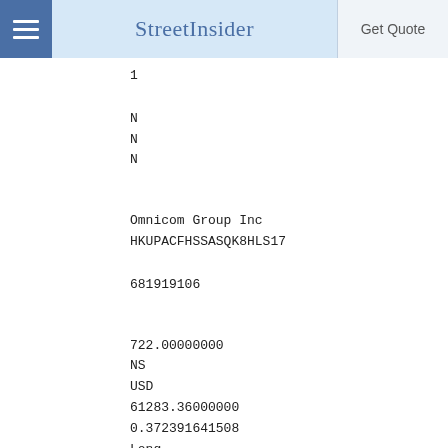StreetInsider  Get Quote
1
N
N
N
Omnicom Group Inc
HKUPACFHSSASQK8HLS17
681919106
722.00000000
NS
USD
61283.36000000
0.372391641508
Long
EC
CORP
US